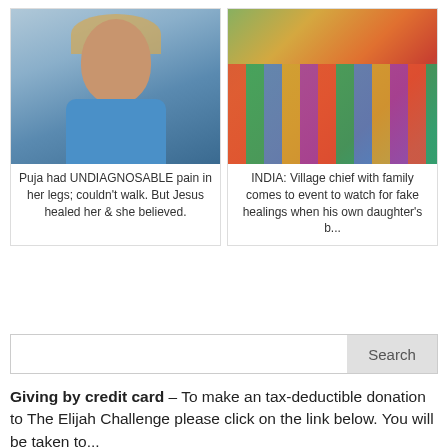[Figure (photo): Portrait photo of Indian woman named Puja wearing a yellow/orange headscarf and blue top]
Puja had UNDIAGNOSABLE pain in her legs; couldn't walk. But Jesus healed her & she believed.
[Figure (photo): Crowd of Indian women in colorful saris with hands raised at an outdoor event]
INDIA: Village chief with family comes to event to watch for fake healings when his own daughter's b...
Search
Giving by credit card – To make an tax-deductible donation to The Elijah Challenge please click on the link below. You will be taken to...